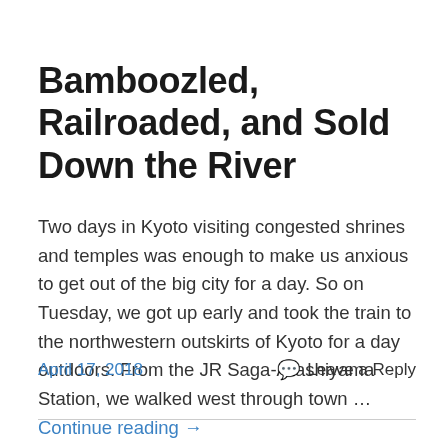Bamboozled, Railroaded, and Sold Down the River
Two days in Kyoto visiting congested shrines and temples was enough to make us anxious to get out of the big city for a day. So on Tuesday, we got up early and took the train to the northwestern outskirts of Kyoto for a day outdoors. From the JR Saga-Arashiyama Station, we walked west through town … Continue reading →
April 17, 2018    💬 Leave a Reply